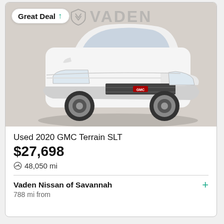[Figure (photo): White 2020 GMC Terrain SLT SUV photographed from front-left angle on a gray background, with VADEN dealership watermark overlay]
Great Deal ↑
Used 2020 GMC Terrain SLT
$27,698
48,050 mi
Vaden Nissan of Savannah
788 mi from